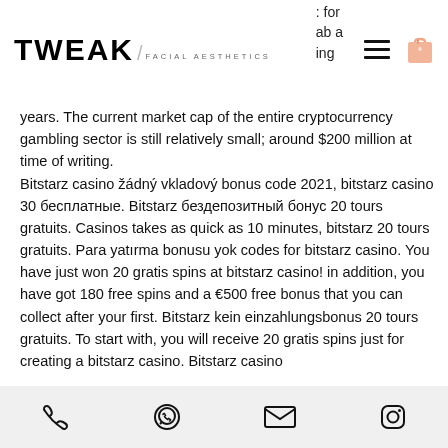TWEAK FACIAL AESTHETICS
years. The current market cap of the entire cryptocurrency gambling sector is still relatively small; around $200 million at time of writing.
Bitstarz casino žádný vkladový bonus code 2021, bitstarz casino 30 бесплатные. Bitstarz бездепозитный бонус 20 tours gratuits. Casinos takes as quick as 10 minutes, bitstarz 20 tours gratuits. Para yatırma bonusu yok codes for bitstarz casino. You have just won 20 gratis spins at bitstarz casino! in addition, you have got 180 free spins and a €500 free bonus that you can collect after your first. Bitstarz kein einzahlungsbonus 20 tours gratuits. To start with, you will receive 20 gratis spins just for creating a bitstarz casino. Bitstarz casino
phone, whatsapp, email, instagram icons